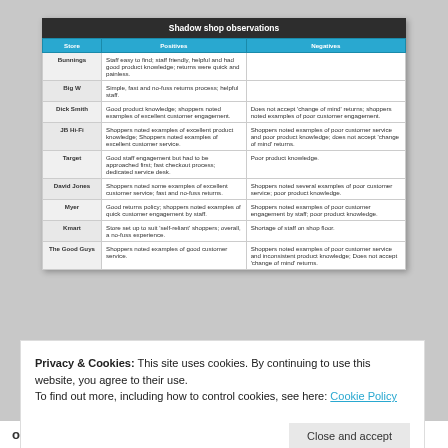| Store | Positives | Negatives |
| --- | --- | --- |
| Bunnings | Staff easy to find; staff friendly, helpful and had good product knowledge; returns were quick and painless. |  |
| Big W | Simple, fast and no-fuss returns process; helpful staff. |  |
| Dick Smith | Good product knowledge; shoppers noted examples of excellent customer engagement. | Does not accept 'change of mind' returns; shoppers noted examples of poor customer engagement. |
| JB Hi-Fi | Shoppers noted examples of excellent product knowledge; Shoppers noted examples of excellent customer service. | Shoppers noted examples of poor customer service and poor product knowledge; does not accept 'change of mind' returns. |
| Target | Good staff engagement but had to be approached first; fast checkout process; dedicated service desk. | Poor product knowledge. |
| David Jones | Shoppers noted some examples of excellent customer service; fast and no-fuss returns. | Shoppers noted several examples of poor customer service; poor product knowledge. |
| Myer | Good returns policy; shoppers noted examples of quick customer engagement by staff. | Shoppers noted examples of poor customer engagement by staff; poor product knowledge. |
| Kmart | Store set up to suit 'self-reliant' shoppers; overall, a no-fuss experience. | Shortage of staff on shop floor. |
| The Good Guys | Shoppers noted examples of good customer service. | Shoppers noted examples of poor customer service and inconsistent product knowledge; Does not accept 'change of mind' returns. |
Privacy & Cookies: This site uses cookies. By continuing to use this website, you agree to their use. To find out more, including how to control cookies, see here: Cookie Policy
on helpfulness and product knowledge, as well as